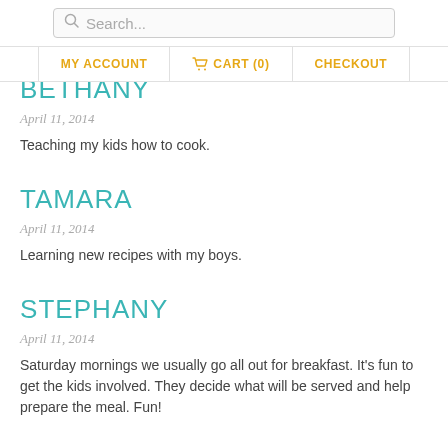Search... | MY ACCOUNT | CART (0) | CHECKOUT
BETHANY
April 11, 2014
Teaching my kids how to cook.
TAMARA
April 11, 2014
Learning new recipes with my boys.
STEPHANY
April 11, 2014
Saturday mornings we usually go all out for breakfast. It's fun to get the kids involved. They decide what will be served and help prepare the meal. Fun!